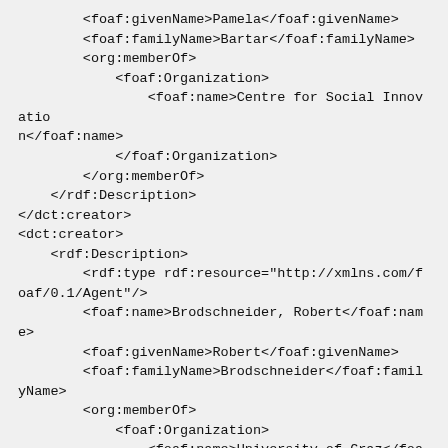<foaf:givenName>Pamela</foaf:givenName>
            <foaf:familyName>Bartar</foaf:familyName>
            <org:memberOf>
                <foaf:Organization>
                    <foaf:name>Centre for Social Innovation</foaf:name>
                </foaf:Organization>
            </org:memberOf>
        </rdf:Description>
    </dct:creator>
    <dct:creator>
        <rdf:Description>
            <rdf:type rdf:resource="http://xmlns.com/foaf/0.1/Agent"/>
            <foaf:name>Brodschneider, Robert</foaf:name>
            <foaf:givenName>Robert</foaf:givenName>
            <foaf:familyName>Brodschneider</foaf:familyName>
            <org:memberOf>
                <foaf:Organization>
                    <foaf:name>University of Graz</foaf:name>
                </foaf:Organization>
            </org:memberOf>